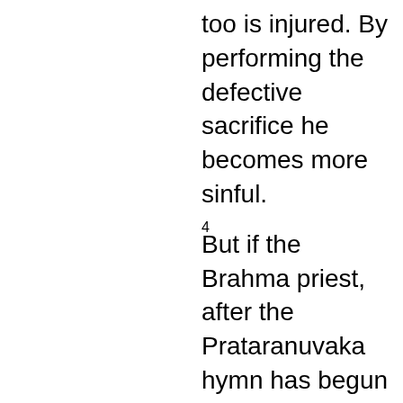too is injured. By performing the defective sacrifice he becomes more sinful.
4 But if the Brahma priest, after the Prataranuvaka hymn has begun and before the recitation of the Paridhaniya, does not break his silence and speak, he purifies both the ways and neither of them is injured. As a man walking on two legs or a carriage going on two wheels goes on without obstacle, likewise the sacrifice goes on